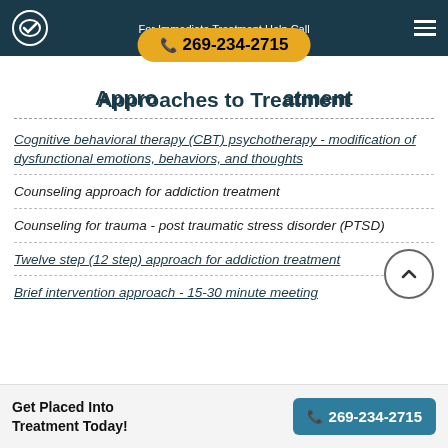For Immediate Treatment Help Call 269-234-2715
Approaches to Treatment
Cognitive behavioral therapy (CBT) psychotherapy - modification of dysfunctional emotions, behaviors, and thoughts
Counseling approach for addiction treatment
Counseling for trauma - post traumatic stress disorder (PTSD)
Twelve step (12 step) approach for addiction treatment
Brief intervention approach - 15-30 minute meeting
Get Placed Into Treatment Today! 269-234-2715